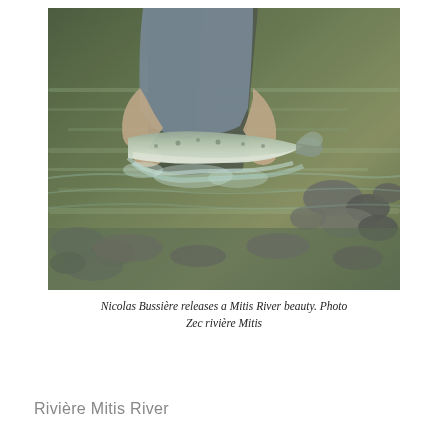[Figure (photo): A person kneeling in a river releases a large salmon back into the water. The fish is being held horizontally just above the water surface. Rocky riverbed visible in background.]
Nicolas Bussière releases a Mitis River beauty. Photo Zec rivière Mitis
Rivière Mitis River